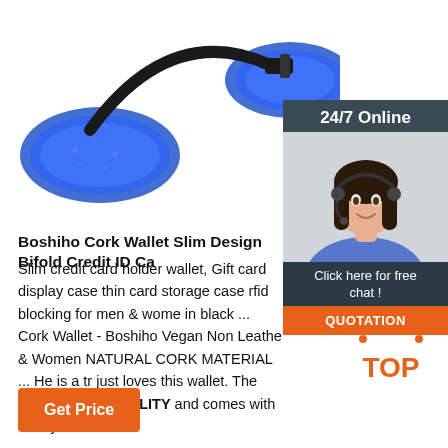[Figure (photo): Blue padded headphone or earmuff product on white background, photographed from above, with black frame visible.]
[Figure (photo): 24/7 online chat widget showing a smiling female customer service agent wearing a headset, with dark background, 'Click here for free chat!' text, and an orange QUOTATION button.]
Boshiho Cork Wallet Slim Design Bifold Credit ID Ca
Slim credit card holder wallet, Gift card display case thin card storage case rfid blocking for men & women in black ... Cork Wallet - Boshiho Vegan Non Leather & Women NATURAL CORK MATERIAL ... He is a tr just loves this wallet. The wallet is TOP QUALITY and comes with a very nice ...
[Figure (logo): Orange 'TOP' badge with orange dot pattern above the text.]
Get Price